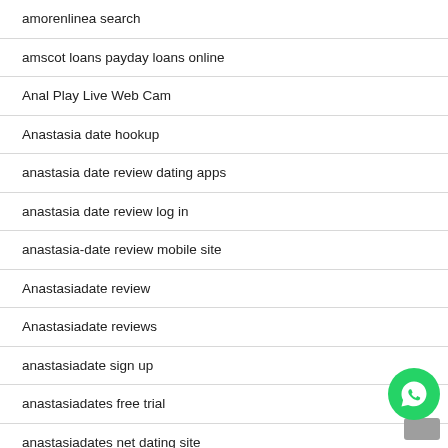amorenlinea search
amscot loans payday loans online
Anal Play Live Web Cam
Anastasia date hookup
anastasia date review dating apps
anastasia date review log in
anastasia-date review mobile site
Anastasiadate review
Anastasiadate reviews
anastasiadate sign up
anastasiadates free trial
anastasiadates net dating site